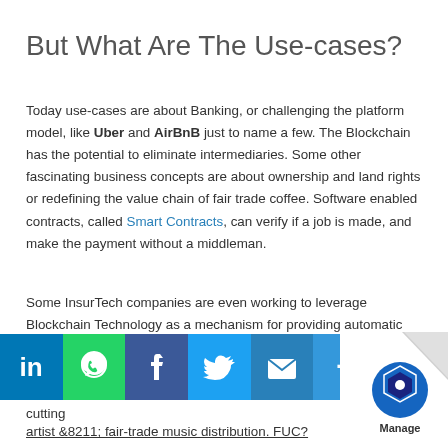But What Are The Use-cases?
Today use-cases are about Banking, or challenging the platform model, like Uber and AirBnB just to name a few. The Blockchain has the potential to eliminate intermediaries. Some other fascinating business concepts are about ownership and land rights or redefining the value chain of fair trade coffee. Software enabled contracts, called Smart Contracts, can verify if a job is made, and make the payment without a middleman.
Some InsurTech companies are even working to leverage Blockchain Technology as a mechanism for providing automatic payouts, particularly in the peer-to-peer insurance space where smart contracts could ensure payouts are made accurately and efficient. A song Blockchain could also serve as a platform to cutting... artist &8211; fair-trade music distribution. FUC?
[Figure (infographic): Social sharing bar with LinkedIn, WhatsApp, Facebook, Twitter, Email, and More (+) icons overlaid on the page content]
[Figure (logo): Page curl effect in bottom-right corner with Manage logo (blue hexagon icon) and 'Manage' text label]